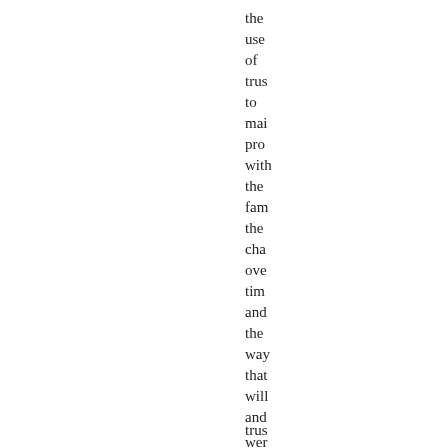the use of trus to mai pro with the fam the cha ove tim and the way that will and trus wer part